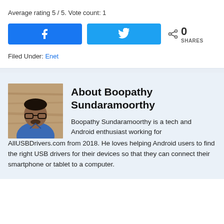Average rating 5 / 5. Vote count: 1
[Figure (other): Facebook and Twitter share buttons with share count showing 0 SHARES]
Filed Under: Enet
[Figure (photo): Photo of Boopathy Sundaramoorthy, a man in a blue shirt]
About Boopathy Sundaramoorthy
Boopathy Sundaramoorthy is a tech and Android enthusiast working for AllUSBDrivers.com from 2018. He loves helping Android users to find the right USB drivers for their devices so that they can connect their smartphone or tablet to a computer.